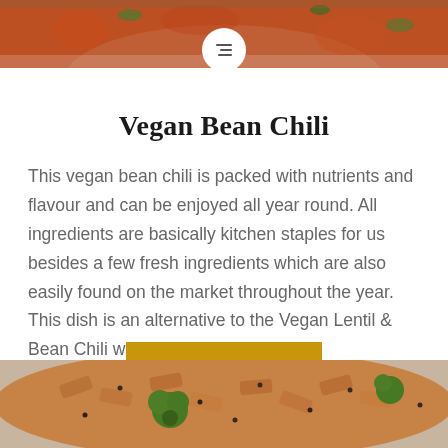[Figure (photo): Top portion of a bowl with tomato-based dish with vegetables visible, cropped at the top of the page]
Vegan Bean Chili
This vegan bean chili is packed with nutrients and flavour and can be enjoyed all year round. All ingredients are basically kitchen staples for us besides a few fresh ingredients which are also easily found on the market throughout the year. This dish is an alternative to the Vegan Lentil & Bean Chili which I...
READ MORE
[Figure (photo): Bottom portion showing penne pasta with broccoli and black sesame seeds in a sauce, cropped at the bottom of the page]